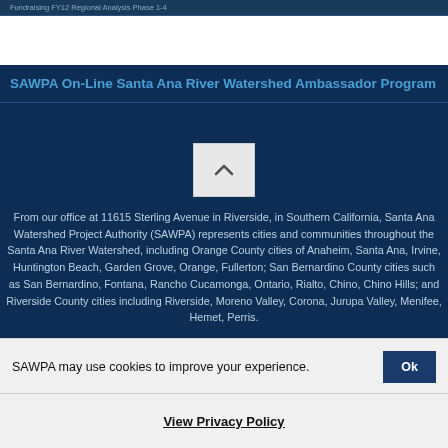Fundraising FY12 Regional Analysis Phase 1-4
SAWPA On-Line Santa Ana River Watershed Ambassador Program
[Figure (illustration): Scroll-up or back-to-top button icon with an upward chevron/caret arrow on a light gray background]
From our office at 11615 Sterling Avenue in Riverside, in Southern California, Santa Ana Watershed Project Authority (SAWPA) represents cities and communities throughout the Santa Ana River Watershed, including Orange County cities of Anaheim, Santa Ana, Irvine, Huntington Beach, Garden Grove, Orange, Fullerton; San Bernardino County cities such as San Bernardino, Fontana, Rancho Cucamonga, Ontario, Rialto, Chino, Chino Hills; and Riverside County cities including Riverside, Moreno Valley, Corona, Jurupa Valley, Menifee, Hemet, Perris.
SAWPA may use cookies to improve your experience.
Ok
View Privacy Policy